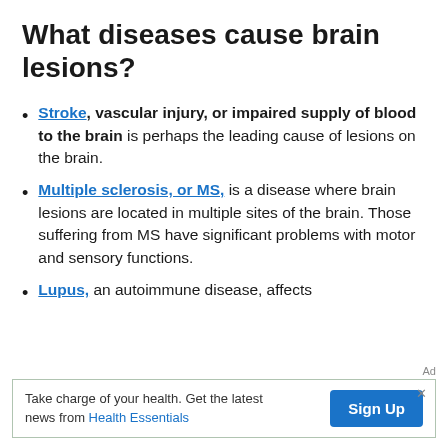What diseases cause brain lesions?
Stroke, vascular injury, or impaired supply of blood to the brain is perhaps the leading cause of lesions on the brain.
Multiple sclerosis, or MS, is a disease where brain lesions are located in multiple sites of the brain. Those suffering from MS have significant problems with motor and sensory functions.
Lupus, an autoimmune disease, affects
Ad
Take charge of your health. Get the latest news from Health Essentials  Sign Up